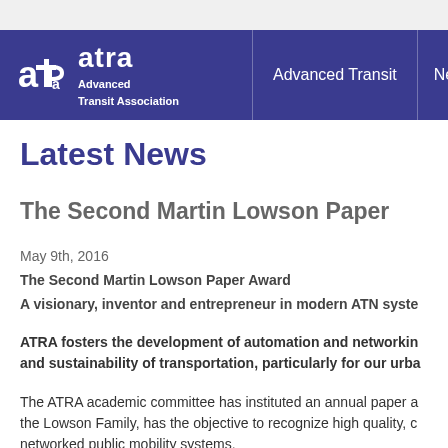[Figure (screenshot): ATRA website header navigation bar with logo showing 'atra Advanced Transit Association' and nav links 'Advanced Transit' and 'Newsroo...']
Latest News
The Second Martin Lowson Paper
May 9th, 2016
The Second Martin Lowson Paper Award
A visionary, inventor and entrepreneur in modern ATN syste...
ATRA fosters the development of automation and networkin... and sustainability of transportation, particularly for our urba...
The ATRA academic committee has instituted an annual paper a... the Lowson Family, has the objective to recognize high quality, c... networked public mobility systems.